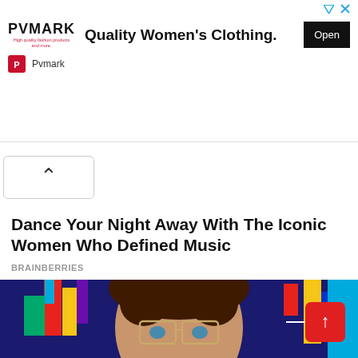[Figure (screenshot): PVMARK advertisement banner with logo, 'Quality Women's Clothing.' headline, and Open button]
Pvmark
[Figure (other): Collapse/chevron up button]
Dance Your Night Away With The Iconic Women Who Defined Music
BRAINBERRIES
[Figure (photo): Person with curly brown hair and glasses against colorful abstract background]